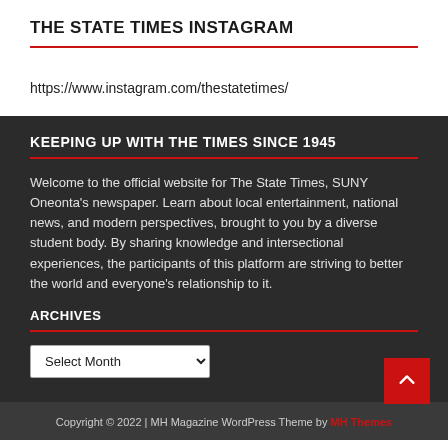THE STATE TIMES INSTAGRAM
https://www.instagram.com/thestatetimes/
KEEPING UP WITH THE TIMES SINCE 1945
Welcome to the official website for The State Times, SUNY Oneonta's newspaper. Learn about local entertainment, national news, and modern perspectives, brought to you by a diverse student body. By sharing knowledge and intersectional experiences, the participants of this platform are striving to better the world and everyone's relationship to it.
ARCHIVES
Select Month
Copyright © 2022 | MH Magazine WordPress Theme by MH Themes